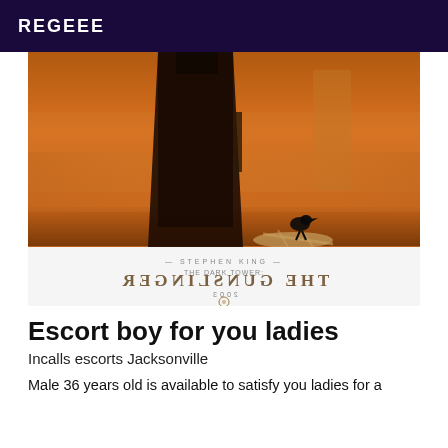REGEEE
[Figure (photo): Movie poster for 'The Gunslinger' showing a dark-cloaked figure standing in an orange/amber desert landscape with a crow perched on bones nearby. The poster text appears mirrored/flipped. Text visible: 'THE GUNSLINGER', 'THE DARK TOWER', '2003'.]
Escort boy for you ladies
Incalls escorts Jacksonville
Male 36 years old is available to satisfy you ladies for a